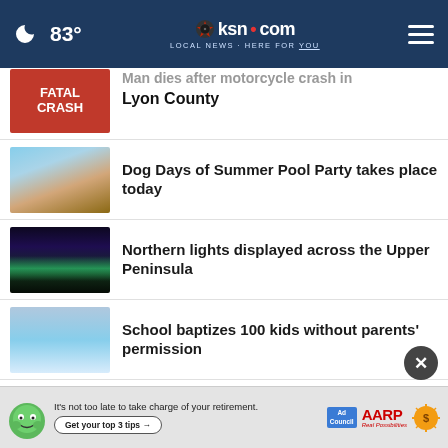83° ksn.com LOCAL NEWS · HERE FOR YOU
Man dies after motorcycle crash in Lyon County
Dog Days of Summer Pool Party takes place today
Northern lights displayed across the Upper Peninsula
School baptizes 100 kids without parents' permission
Man charged in jogger abduction kidnapped attorney
Kan. teen arrested for criminal…
It's not too late to take charge of your retirement. Get your top 3 tips → Ad Council AARP Real Possibilities